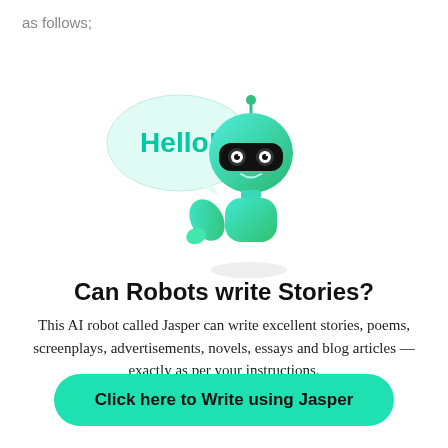as follows;
[Figure (illustration): Cartoon AI robot with teal/green gradient body, black visor eyes, antenna on top, waving hand, with a speech bubble saying 'Hello!' in teal text]
Can Robots write Stories?
This AI robot called Jasper can write excellent stories, poems, screenplays, advertisements, novels, essays and blog articles — exactly as per your instructions.
Click here to Write using Jasper